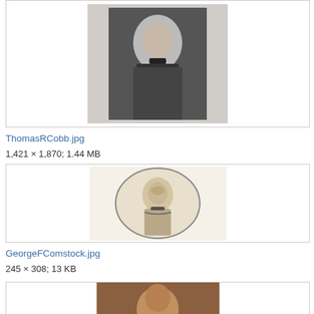[Figure (photo): Black and white portrait photograph of Thomas R. Cobb, a man in 19th century dress, centered in a bordered box]
ThomasRCobb.jpg
1,421 × 1,870; 1.44 MB
[Figure (illustration): Oval engraving portrait of George F. Comstock, a man with wavy hair and bow tie, in a bordered box]
GeorgeFComstock.jpg
245 × 308; 13 KB
[Figure (photo): Partial view of a brown-toned portrait photograph of a man, partially cut off at bottom of page]